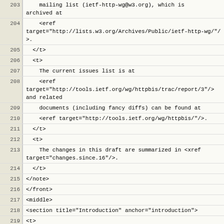Code listing lines 203-226: XML source for HTTP authentication RFC document